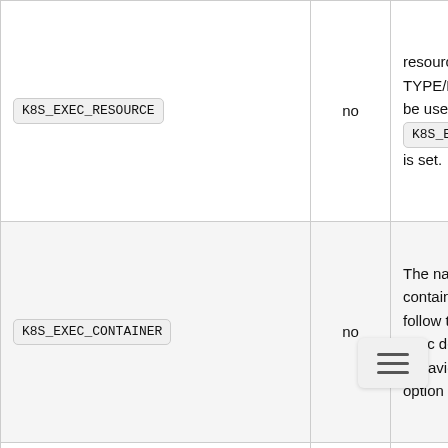| Parameter | Required | Description |
| --- | --- | --- |
| K8S_EXEC_RESOURCE | no | resource. P TYPE/NAME be used onl K8S_EXEC_C is set. |
| K8S_EXEC_CONTAINER | no | The name o container, it follow the k exec defaul behavior if t option isn't |
| NAMESPACE | no | The name o nam defa... namespace |